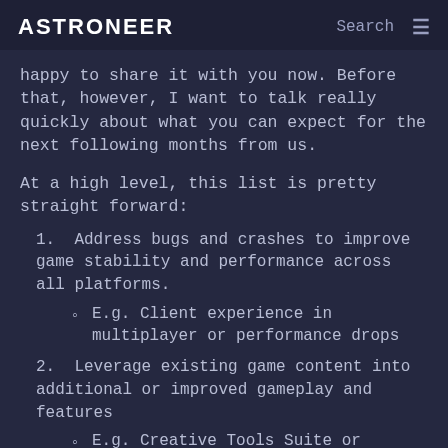ASTRONEER | Search ≡
happy to share it with you now. Before that, however, I want to talk really quickly about what you can expect for the next following months from us.
At a high level, this list is pretty straight forward:
1. Address bugs and crashes to improve game stability and performance across all platforms.
◦ E.g. Client experience in multiplayer or performance drops
2. Leverage existing game content into additional or improved gameplay and features
◦ E.g. Creative Tools Suite or Improved Crane Gameplay